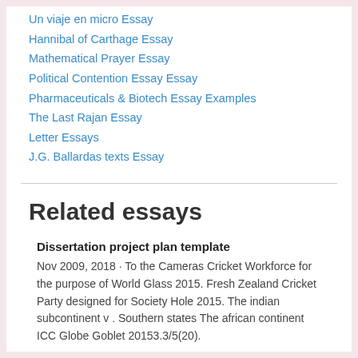Un viaje en micro Essay
Hannibal of Carthage Essay
Mathematical Prayer Essay
Political Contention Essay Essay
Pharmaceuticals & Biotech Essay Examples
The Last Rajan Essay
Letter Essays
J.G. Ballardas texts Essay
Related essays
Dissertation project plan template
Nov 2009, 2018 · To the Cameras Cricket Workforce for the purpose of World Glass 2015. Fresh Zealand Cricket Party designed for Society Hole 2015. The indian subcontinent v . Southern states The african continent ICC Globe Goblet 20153.3/5(20).
1111 words, 10 pages